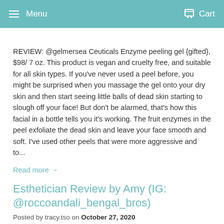Menu   Cart
REVIEW: @gelmersea Ceuticals Enzyme peeling gel {gifted}, $98/ 7 oz. This product is vegan and cruelty free, and suitable for all skin types. If you've never used a peel before, you might be surprised when you massage the gel onto your dry skin and then start seeing little balls of dead skin starting to slough off your face! But don't be alarmed, that's how this facial in a bottle tells you it's working. The fruit enzymes in the peel exfoliate the dead skin and leave your face smooth and soft. I've used other peels that were more aggressive and to...
Read more →
Esthetician Review by Amy (IG: @roccoandali_bengal_bros)
Posted by tracy.tso on October 27, 2020